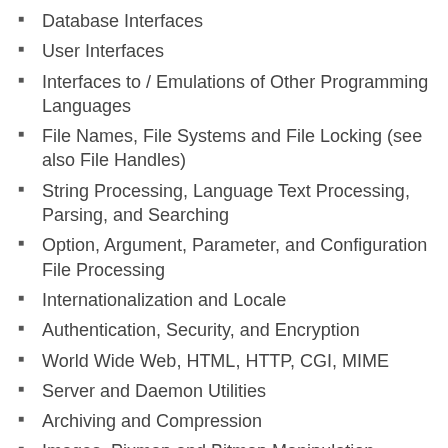Database Interfaces
User Interfaces
Interfaces to / Emulations of Other Programming Languages
File Names, File Systems and File Locking (see also File Handles)
String Processing, Language Text Processing, Parsing, and Searching
Option, Argument, Parameter, and Configuration File Processing
Internationalization and Locale
Authentication, Security, and Encryption
World Wide Web, HTML, HTTP, CGI, MIME
Server and Daemon Utilities
Archiving and Compression
Images, Pixmap and Bitmap Manipulation, Drawing, and Graphing
Mail and Usenet News
Control Flow Utilities (callbacks and exceptions etc)
File Handle and Input/Output Stream Utilities